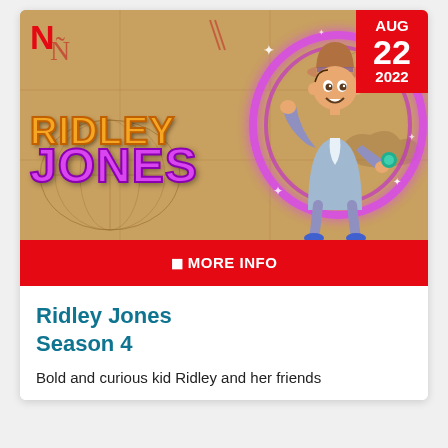[Figure (screenshot): Netflix thumbnail for Ridley Jones Season 4 showing animated character with pink/purple magical glow, wearing a hat, on a map background. Shows RIDLEY JONES title text in orange and purple. Date badge shows AUG 22 2022. Netflix N logo top left.]
⊕ MORE INFO
Ridley Jones
Season 4
Bold and curious kid Ridley and her friends